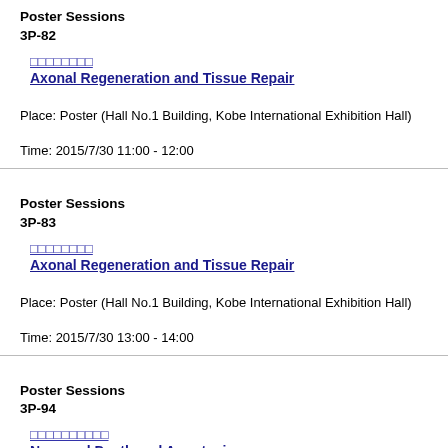Poster Sessions
3P-82
□□□□□□□□
Axonal Regeneration and Tissue Repair
Place: Poster (Hall No.1 Building, Kobe International Exhibition Hall)
Time: 2015/7/30 11:00 - 12:00
Poster Sessions
3P-83
□□□□□□□□
Axonal Regeneration and Tissue Repair
Place: Poster (Hall No.1 Building, Kobe International Exhibition Hall)
Time: 2015/7/30 13:00 - 14:00
Poster Sessions
3P-94
□□□□□□□□□□
Neuronal Death and Apoptosis
Place: Poster (Hall No.1 Building, Kobe International Exhibition Hall)
Time: 2015/7/30 11:00 - 12:00